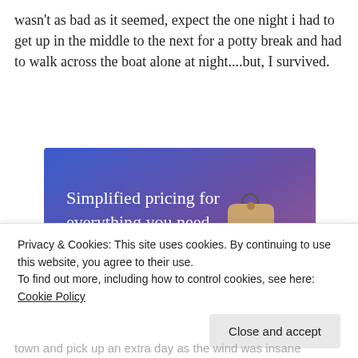wasn't as bad as it seemed, expect the one night i had to get up in the middle to the next for a potty break and had to walk across the boat alone at night....but, I survived.
[Figure (infographic): Advertisement banner with blue-purple gradient background. Text reads 'Simplified pricing for everything you need.' with a pink 'Build Your Website' button and a price tag graphic on the right.]
Privacy & Cookies: This site uses cookies. By continuing to use this website, you agree to their use.
To find out more, including how to control cookies, see here: Cookie Policy
town and pick up an extra day as the wind was insane